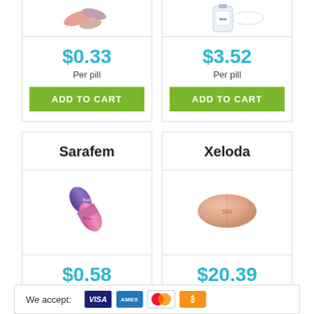$0.33
Per pill
ADD TO CART
$3.52
Per pill
ADD TO CART
Sarafem
[Figure (photo): Sarafem capsule pill - purple and pink gradient capsule]
$0.58
Per pill
ADD TO CART
Xeloda
[Figure (photo): Xeloda tablet pill - oval pink/peach colored tablet]
$20.39
Per pill
ADD TO CART
We accept:
[Figure (logo): Payment icons: Visa, American Express, Mastercard, Bitcoin]